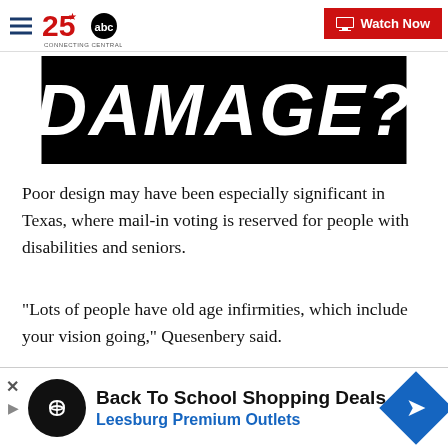KXXV 25 ABC – Watch Now
[Figure (screenshot): Black banner image with large white bold italic text reading 'DAMAGE?']
Poor design may have been especially significant in Texas, where mail-in voting is reserved for people with disabilities and seniors.
"Lots of people have old age infirmities, which include your vision going," Quesenbery said.
Harris County Elections Administrator Isabel Longoria said officials had no choice but to cram the new…
[Figure (infographic): Advertisement banner: Back To School Shopping Deals – Leesburg Premium Outlets, with circular logo and blue navigation arrow icon]